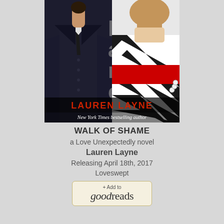[Figure (illustration): Book cover for 'Walk of Shame' by Lauren Layne. Shows a man in a dark suit on the left and a woman in a black and white striped dress with red belt on the right. Title text 'shame' visible vertically, author name 'LAUREN LAYNE' in red at bottom, subtitle 'New York Times bestselling author' in white italic text.]
WALK OF SHAME
a Love Unexpectedly novel
Lauren Layne
Releasing April 18th, 2017
Loveswept
[Figure (logo): + Add to goodreads button/logo]